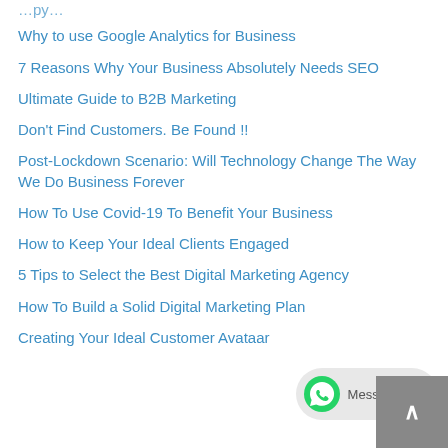Why to use Google Analytics for Business
7 Reasons Why Your Business Absolutely Needs SEO
Ultimate Guide to B2B Marketing
Don't Find Customers. Be Found !!
Post-Lockdown Scenario: Will Technology Change The Way We Do Business Forever
How To Use Covid-19 To Benefit Your Business
How to Keep Your Ideal Clients Engaged
5 Tips to Select the Best Digital Marketing Agency
How To Build a Solid Digital Marketing Plan
Creating Your Ideal Customer Avataar